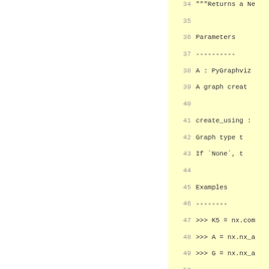Code listing lines 34-61 showing Python docstring for a NetworkX function. Lines 34-61 include docstring text: Parameters, A : PyGraphviz, A graph creat..., create_using :, Graph type t..., If `None`, t..., Examples, >>> K5 = nx.com..., >>> A = nx.nx_a..., >>> G = nx.nx_a..., Notes, The Graph G wil..., the default gra..., Default node at..., which is keyed..., Edge attributes..., edge_attr=False..., attribute or th...